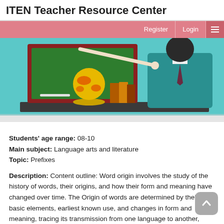ITEN Teacher Resource Center
[Figure (illustration): Illustration of a teacher in a teal suit pointing at a chalkboard, with a globe and books on a dark desk in front]
Students' age range: 08-10
Main subject: Language arts and literature
Topic: Prefixes
Description: Content outline: Word origin involves the study of the history of words, their origins, and how their form and meaning have changed over time. The Origin of words are determined by their basic elements, earliest known use, and changes in form and meaning, tracing its transmission from one language to another, identifying its cognates in other languages, and reconstructing its ancestral form where possible.